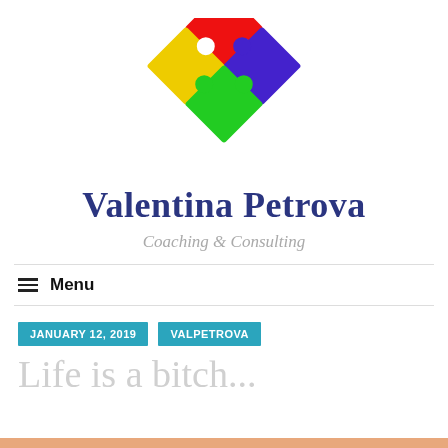[Figure (logo): Colorful four-piece puzzle logo with red, purple, yellow, and green pieces arranged in a diamond shape]
Valentina Petrova
Coaching & Consulting
≡  Menu
JANUARY 12, 2019   VALPETROVA
Life is a bitch...